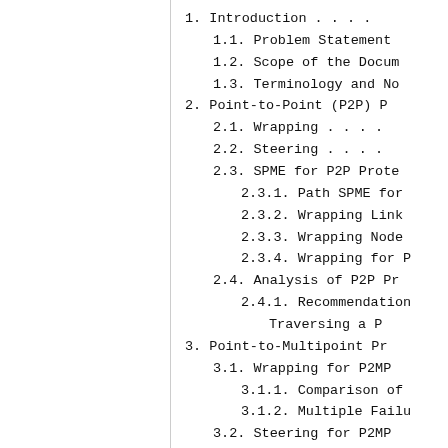1.  Introduction . . . .
1.1.  Problem Statement
1.2.  Scope of the Docum
1.3.  Terminology and No
2.  Point-to-Point (P2P) P
2.1.  Wrapping . . . .
2.2.  Steering . . . .
2.3.  SPME for P2P Prote
2.3.1.  Path SPME for
2.3.2.  Wrapping Link
2.3.3.  Wrapping Node
2.3.4.  Wrapping for P
2.4.  Analysis of P2P Pr
2.4.1.  Recommendation
Traversing a P
3.  Point-to-Multipoint Pr
3.1.  Wrapping for P2MP
3.1.1.  Comparison of
3.1.2.  Multiple Failu
3.2.  Steering for P2MP